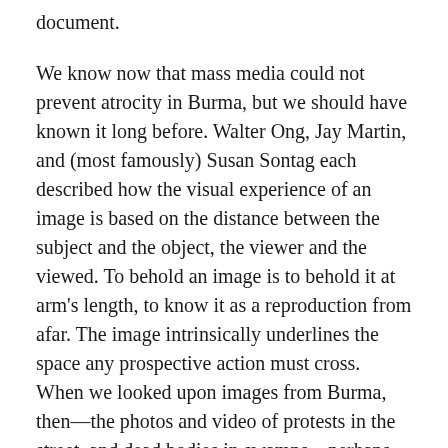document.
We know now that mass media could not prevent atrocity in Burma, but we should have known it long before. Walter Ong, Jay Martin, and (most famously) Susan Sontag each described how the visual experience of an image is based on the distance between the subject and the object, the viewer and the viewed. To behold an image is to behold it at arm's length, to know it as a reproduction from afar. The image intrinsically underlines the space any prospective action must cross. When we looked upon images from Burma, then—the photos and video of protests in the street, and dead bodies in swamps—perhaps what we really saw was "something happening far away." Instead of acting, instead of traversing the gulf those images presented, we assumed the images would be enough to